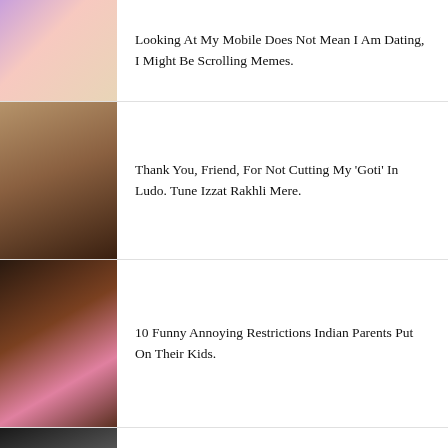[Figure (photo): Two women posing together, light floral outfits]
Looking At My Mobile Does Not Mean I Am Dating, I Might Be Scrolling Memes.
[Figure (photo): Young woman in black top, smiling, indoor warm setting]
Thank You, Friend, For Not Cutting My 'Goti' In Ludo. Tune Izzat Rakhli Mere.
[Figure (photo): Group of people including woman in pink saree and man in dark suit]
10 Funny Annoying Restrictions Indian Parents Put On Their Kids.
[Figure (photo): Man wearing sunglasses with background elements]
9 Signs Your Friends Act Like A Police Officer.